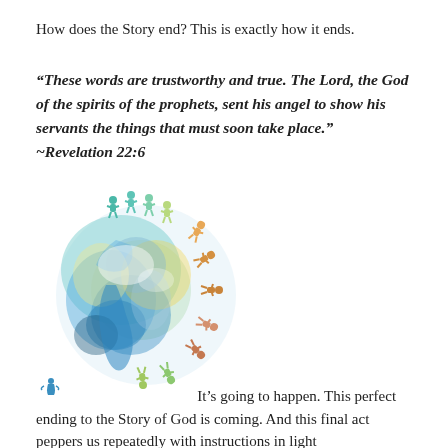How does the Story end? This is exactly how it ends.
“These words are trustworthy and true. The Lord, the God of the spirits of the prophets, sent his angel to show his servants the things that must soon take place.” ~Revelation 22:6
[Figure (illustration): Colorful watercolor globe with a ring of diverse paper-doll figures holding hands around it, in teal, green, yellow, orange, and blue tones.]
It’s going to happen. This perfect ending to the Story of God is coming. And this final act peppers us repeatedly with instructions in light